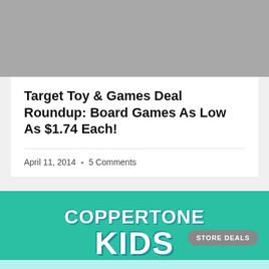[Figure (photo): Gray placeholder image block at the top of the page]
Target Toy & Games Deal Roundup: Board Games As Low As $1.74 Each!
April 11, 2014  •  5 Comments
[Figure (photo): Coppertone Kids sunscreen product image with teal/green background showing brand name text and STORE DEALS badge]